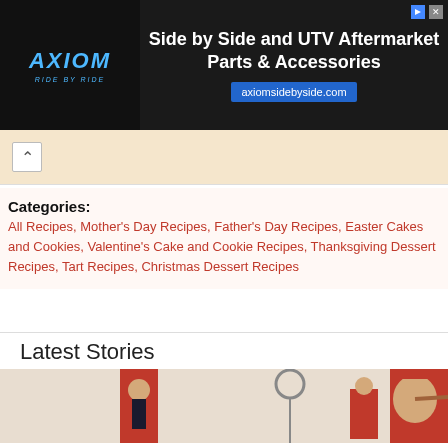[Figure (screenshot): Axiom advertisement banner: 'Side by Side and UTV Aftermarket Parts & Accessories' with URL axiomsidebyside.com on dark background]
[Figure (screenshot): Partial navigation bar with back arrow and yellow/cream background]
Categories:
All Recipes, Mother's Day Recipes, Father's Day Recipes, Easter Cakes and Cookies, Valentine's Cake and Cookie Recipes, Thanksgiving Dessert Recipes, Tart Recipes, Christmas Dessert Recipes
Latest Stories
[Figure (photo): Pinocchio wooden figurines/toys in red and white costumes arranged on a light background]